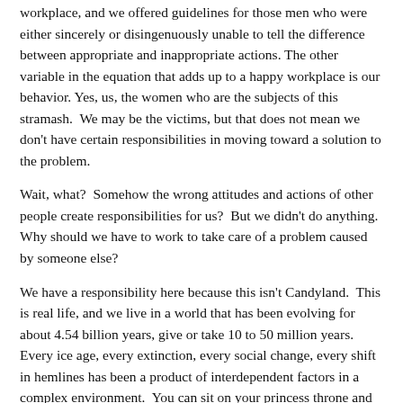workplace, and we offered guidelines for those men who were either sincerely or disingenuously unable to tell the difference between appropriate and inappropriate actions. The other variable in the equation that adds up to a happy workplace is our behavior. Yes, us, the women who are the subjects of this stramash.  We may be the victims, but that does not mean we don't have certain responsibilities in moving toward a solution to the problem.
Wait, what?  Somehow the wrong attitudes and actions of other people create responsibilities for us?  But we didn't do anything.  Why should we have to work to take care of a problem caused by someone else?
We have a responsibility here because this isn't Candyland.  This is real life, and we live in a world that has been evolving for about 4.54 billion years, give or take 10 to 50 million years. Every ice age, every extinction, every social change, every shift in hemlines has been a product of interdependent factors in a complex environment.  You can sit on your princess throne and say that men should just change and life should just be fair.  Good luck with that.
For our part, it will only help our cause if we are proactive and do everything in our power to stop the bad guys and enlighten the good